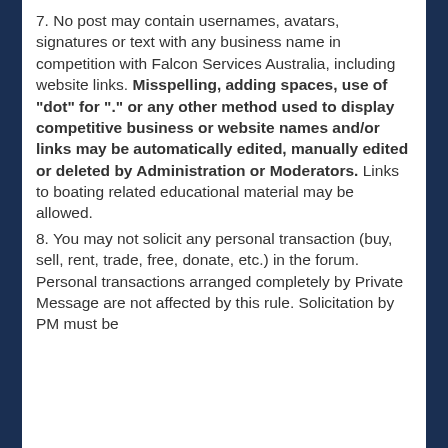7. No post may contain usernames, avatars, signatures or text with any business name in competition with Falcon Services Australia, including website links. Misspelling, adding spaces, use of "dot" for "." or any other method used to display competitive business or website names and/or links may be automatically edited, manually edited or deleted by Administration or Moderators. Links to boating related educational material may be allowed.
8. You may not solicit any personal transaction (buy, sell, rent, trade, free, donate, etc.) in the forum. Personal transactions arranged completely by Private Message are not affected by this rule. Solicitation by PM must be